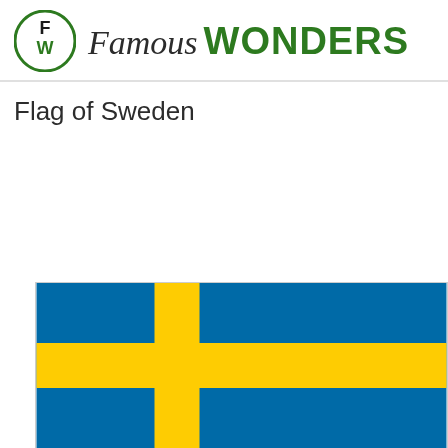[Figure (logo): Famous Wonders logo with FW monogram in a green circle and brand name]
Flag of Sweden
[Figure (illustration): Flag of Sweden — blue field with a yellow/gold Nordic cross]